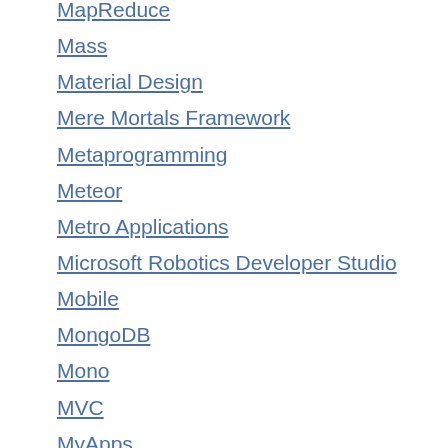MapReduce
Mass
Material Design
Mere Mortals Framework
Metaprogramming
Meteor
Metro Applications
Microsoft Robotics Developer Studio
Mobile
MongoDB
Mono
MVC
MyApps
MySQL
Natural Language Processing
Neural Networks
NHibernate
No
Node